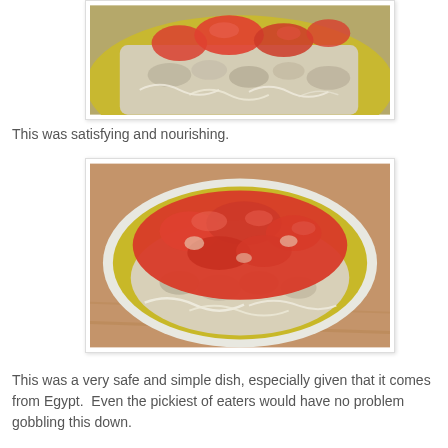[Figure (photo): Close-up photo of a rice and lentil dish on a yellow-green plate, with tomato topping, cropped at top]
This was satisfying and nourishing.
[Figure (photo): Photo of a rice and lentil dish on a yellow-green plate topped with chunky tomato sauce, full view]
This was a very safe and simple dish, especially given that it comes from Egypt.  Even the pickiest of eaters would have no problem gobbling this down.